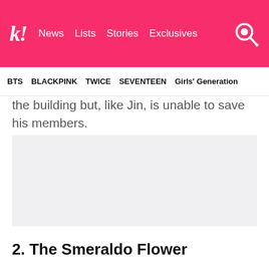k! News  Lists  Stories  Exclusives
BTS  BLACKPINK  TWICE  SEVENTEEN  Girls' Generation
the building but, like Jin, is unable to save his members.
[Figure (photo): Light gray image placeholder]
2. The Smeraldo Flower